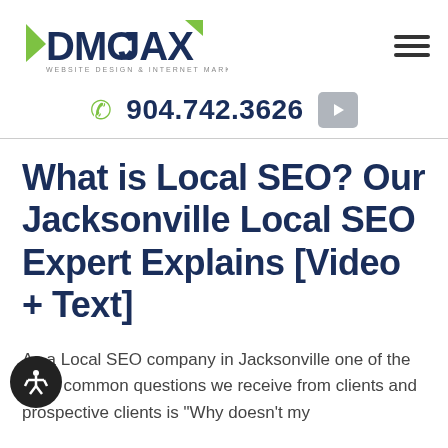DMCJAX - Website Design & Internet Marketing
904.742.3626
What is Local SEO? Our Jacksonville Local SEO Expert Explains [Video + Text]
As a Local SEO company in Jacksonville one of the most common questions we receive from clients and prospective clients is "Why doesn't my